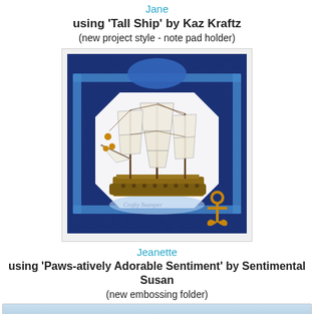Jane
using 'Tall Ship' by Kaz Kraftz
(new project style - note pad holder)
[Figure (photo): Craft project photo: a handmade note pad holder decorated with dark blue denim-textured paper, featuring a tall sailing ship image mounted on a white octagonal panel with blue ribbon/satin border and a gold anchor embellishment in the lower right corner.]
Jeanette
using 'Paws-atively Adorable Sentiment' by Sentimental Susan
(new embossing folder)
[Figure (photo): Partial view of another craft project at the bottom of the page, showing a light blue patterned background.]